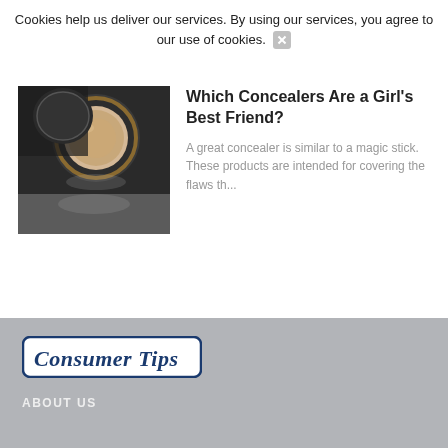Cookies help us deliver our services. By using our services, you agree to our use of cookies.
Which Concealers Are a Girl's Best Friend?
[Figure (photo): Close-up photo of a concealer cosmetic product with dark packaging and beige/cream product visible, on a light background.]
A great concealer is similar to a magic stick. These products are intended for covering the flaws th...
[Figure (logo): Consumer Tips logo in cursive/handwritten style with navy blue text and border.]
ABOUT US